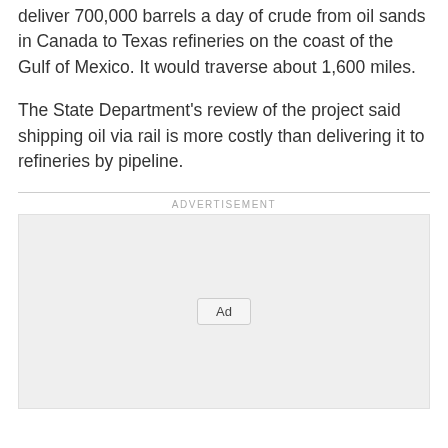deliver 700,000 barrels a day of crude from oil sands in Canada to Texas refineries on the coast of the Gulf of Mexico. It would traverse about 1,600 miles.
The State Department's review of the project said shipping oil via rail is more costly than delivering it to refineries by pipeline.
[Figure (other): Advertisement placeholder box with 'Ad' button label and 'ADVERTISEMENT' text above a horizontal rule]